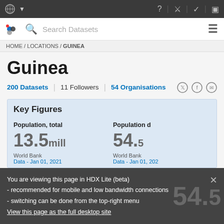HDX top navigation bar with UN logo and icons
Search Datasets
HOME / LOCATIONS / GUINEA
Guinea
200 Datasets | 11 Followers | 54 Organisations
Key Figures
Population, total
Population d
13.5mill
54.5
World Bank
Data - Jan 01, 2021
World Bank
Data - Jan 01, 202
You are viewing this page in HDX Lite (beta)
- recommended for mobile and low bandwidth connections
- switching can be done from the top-right menu
View this page as the full desktop site